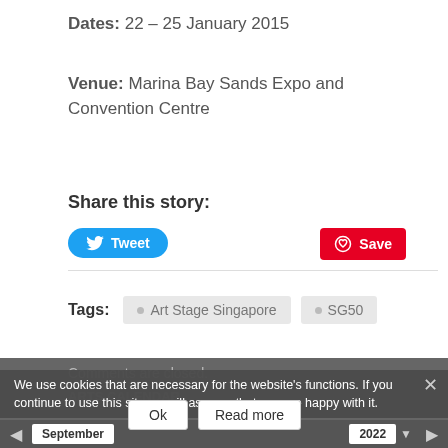Dates: 22 – 25 January 2015
Venue: Marina Bay Sands Expo and Convention Centre
Share this story:
Tags: Art Stage Singapore  SG50
Comments are closed.
ARTS CALENDAR
We use cookies that are necessary for the website's functions. If you continue to use this site we will assume that you are happy with it.
Ok  Read more
September  2022